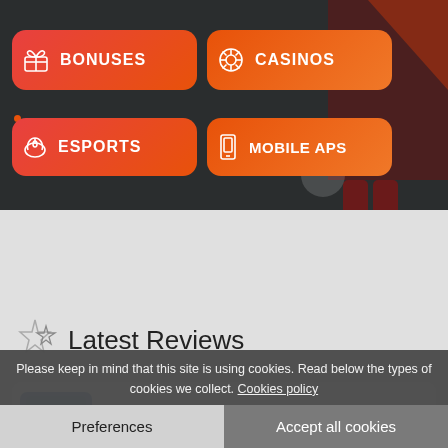[Figure (screenshot): Dark background header section with orange/red gradient navigation buttons (BONUSES, CASINOS, ESPORTS, MOBILE APS) and an athlete image on the right with orange triangle accent]
Latest Reviews
[Figure (screenshot): Card area with a blue casino logo placeholder at the bottom]
Please keep in mind that this site is using cookies. Read below the types of cookies we collect. Cookies policy
Preferences
Accept all cookies